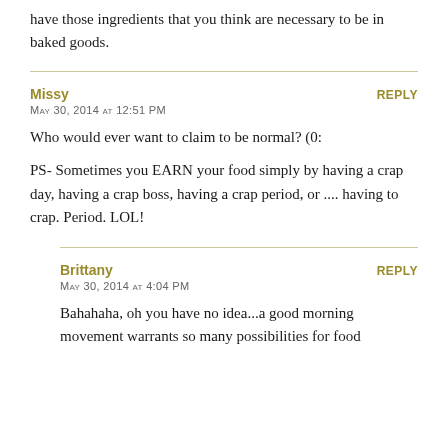have those ingredients that you think are necessary to be in baked goods.
Missy
REPLY
May 30, 2014 at 12:51 PM
Who would ever want to claim to be normal? (0:
PS- Sometimes you EARN your food simply by having a crap day, having a crap boss, having a crap period, or .... having to crap. Period. LOL!
Brittany
REPLY
May 30, 2014 at 4:04 PM
Bahahaha, oh you have no idea...a good morning movement warrants so many possibilities for food